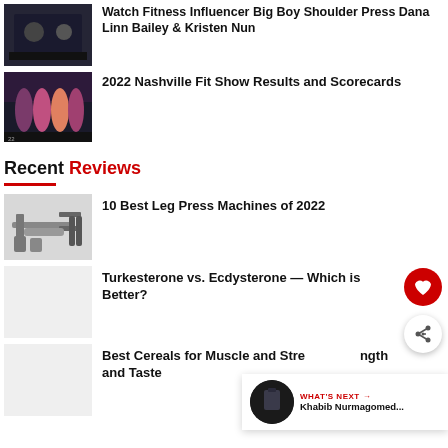[Figure (photo): Thumbnail photo of fitness influencer shoulder press, dark gym setting]
Watch Fitness Influencer Big Boy Shoulder Press Dana Linn Bailey & Kristen Nun
[Figure (photo): Thumbnail photo of 2022 Nashville Fit Show competitors on stage]
2022 Nashville Fit Show Results and Scorecards
Recent Reviews
[Figure (photo): Thumbnail photo of leg press machine equipment]
10 Best Leg Press Machines of 2022
[Figure (photo): Thumbnail placeholder for Turkesterone vs Ecdysterone article]
Turkesterone vs. Ecdysterone — Which is Better?
[Figure (photo): Thumbnail placeholder for Best Cereals article]
Best Cereals for Muscle and Strength Taste
WHAT'S NEXT → Khabib Nurmagomed...